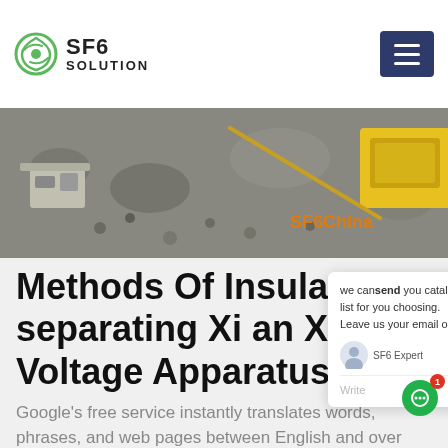SF6 SOLUTION
[Figure (photo): Industrial machinery/gravel processing equipment photo with SF6China watermark overlay]
Methods Of Insulating separating Xi an Xi Voltage Apparatus
Google's free service instantly translates words, phrases, and web pages between English and over 100 other languages. Upload a .doc, .docx, .odf, .pdf, .ppt,
Get Price